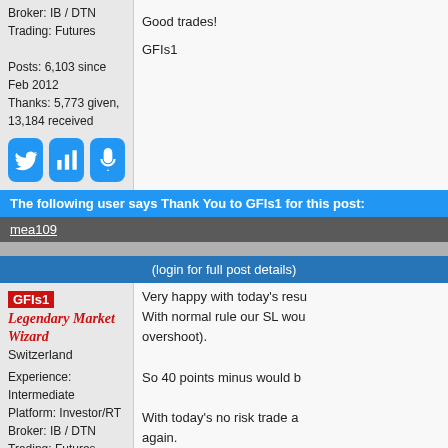Broker: IB / DTN
Trading: Futures

Posts: 6,103 since Feb 2012
Thanks: 5,773 given, 13,184 received
Good trades!

GFIs1
[Figure (screenshot): Row of social media icons: Twitter bird icon (blue), bar chart icon (blue), and microphone icon (blue)]
The following user says Thank You to GFIs1 for this post:
mea109
(login for full post details)
GFIs1
Legendary Market Wizard
Switzerland

Experience: Intermediate
Platform: Investor/RT
Broker: IB / DTN
Trading: Futures

Posts: 6,103 since Feb 2012
Thanks: 5,773 given, 13,184 received
Very happy with today's resu
With normal rule our SL wou
overshoot).

So 40 points minus would b

With today's no risk trade a
again.

GFIs1